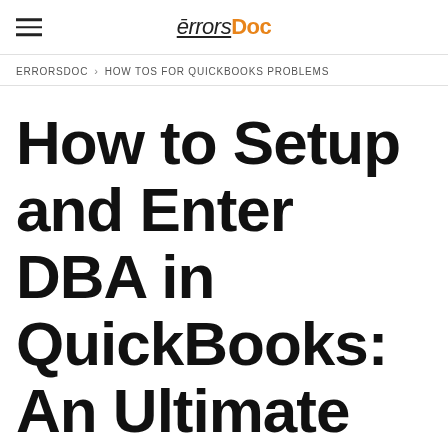errorsDoc
ERRORSDOC > HOW TOS FOR QUICKBOOKS PROBLEMS
How to Setup and Enter DBA in QuickBooks: An Ultimate Guide on QuickBooks DBA